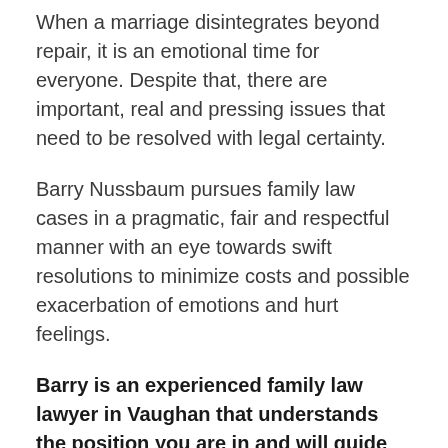When a marriage disintegrates beyond repair, it is an emotional time for everyone. Despite that, there are important, real and pressing issues that need to be resolved with legal certainty.
Barry Nussbaum pursues family law cases in a pragmatic, fair and respectful manner with an eye towards swift resolutions to minimize costs and possible exacerbation of emotions and hurt feelings.
Barry is an experienced family law lawyer in Vaughan that understands the position you are in and will guide you through the entire process with skill and compassion while protecting your interests.